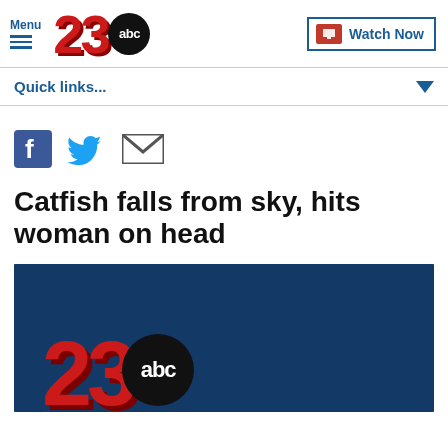Menu | 23 ABC | Watch Now
Quick links...
[Figure (illustration): Social media share icons: Facebook, Twitter, Email]
Catfish falls from sky, hits woman on head
[Figure (screenshot): 23 ABC News logo thumbnail image on blue background]